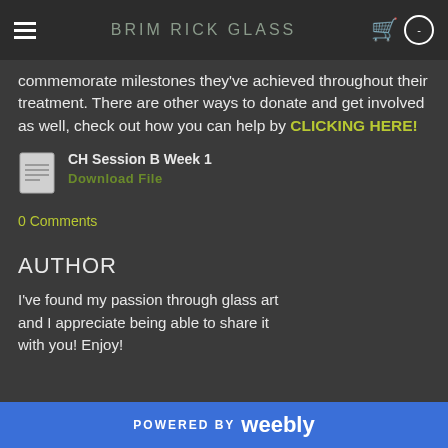BRIM RICK GLASS
commemorate milestones they've achieved throughout their treatment. There are other ways to donate and get involved as well, check out how you can help by CLICKING HERE!
CH Session B Week 1
Download File
0 Comments
AUTHOR
I've found my passion through glass art and I appreciate being able to share it with you! Enjoy!
POWERED BY weebly